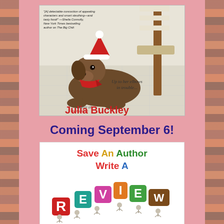[Figure (illustration): Book cover for Julia Buckley's novel featuring a brown Labrador puppy wearing a Santa hat and red bandana, lying on a kitchen floor near a white chair. Text on cover: '[A] delectable concoction of appealing characters and smart sleuthing—and tasty food!' —Sheila Connolly, New York Times bestselling author on The Big Chili. 'Up to her elbows in trouble...' Author of The Big Chili Julia Buckley]
Coming September 6!
[Figure (infographic): Save An Author Write A Review graphic showing colorful block letters spelling REVIEW being carried by small white figurine people. The R is red, E is teal, V is pink/magenta, I is orange, E is green, W is brown.]